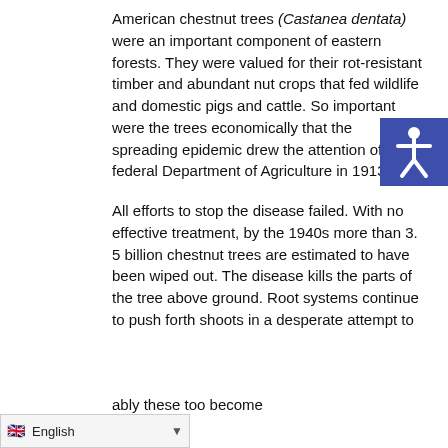American chestnut trees (Castanea dentata) were an important component of eastern forests. They were valued for their rot-resistant timber and abundant nut crops that fed wildlife and domestic pigs and cattle. So important were the trees economically that the spreading epidemic drew the attention of the federal Department of Agriculture in 1913.
All efforts to stop the disease failed. With no effective treatment, by the 1940s more than 3. 5 billion chestnut trees are estimated to have been wiped out. The disease kills the parts of the tree above ground. Root systems continue to push forth shoots in a desperate attempt to ably these too become
[Figure (illustration): Blue square accessibility icon with white human figure symbol]
English